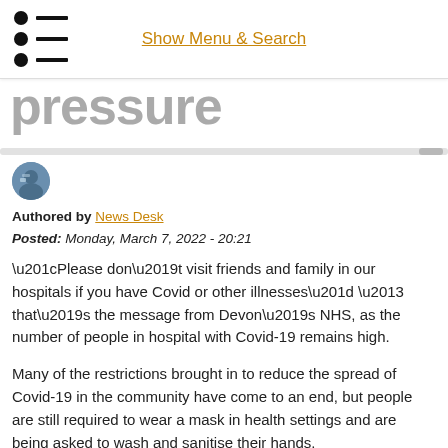Show Menu & Search
pressure
Authored by News Desk
Posted: Monday, March 7, 2022 - 20:21
“Please don’t visit friends and family in our hospitals if you have Covid or other illnesses” – that’s the message from Devon’s NHS, as the number of people in hospital with Covid-19 remains high.
Many of the restrictions brought in to reduce the spread of Covid-19 in the community have come to an end, but people are still required to wear a mask in health settings and are being asked to wash and sanitise their hands.
And anyone with symptoms of Covid-19 or other illnesses that can spread easily, such as flu or norovirus, is urged not to visit patients in hospital.